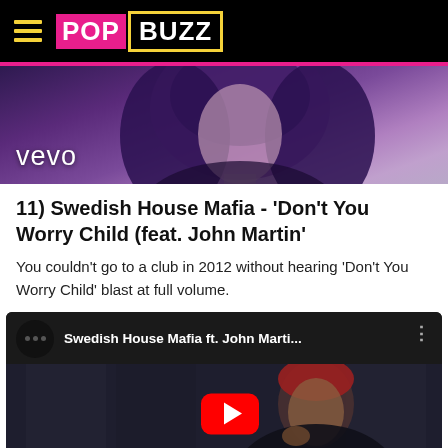PopBuzz
[Figure (screenshot): Vevo music video thumbnail showing a person with purple hair, with the vevo logo in the lower left]
11) Swedish House Mafia - 'Don't You Worry Child (feat. John Martin'
You couldn't go to a club in 2012 without hearing 'Don't You Worry Child' blast at full volume.
[Figure (screenshot): YouTube embed preview for Swedish House Mafia ft. John Marti... showing a man in a red beanie with a YouTube play button overlay]